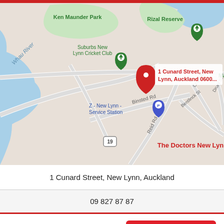[Figure (map): Google Maps screenshot showing New Lynn, Auckland area. Landmarks visible: Ken Maunder Park, Suburbs New Lynn Cricket Club (green pin), Rizal Reserve (green pin), Z - New Lynn - Service Station (blue pin), The Doctors New Lynn (red hospital pin H). A red location pin marks '1 Cunard Street, New Lynn, Auckland 0600...' Streets visible include Binsted Rd, Reid Rd, Crum Ave, Bentlinck St, Drury St. Route 19 marker visible. Blue waterways visible on left (Whau River area).]
1 Cunard Street, New Lynn, Auckland
09 827 87 87
More Actions
Ask a Question